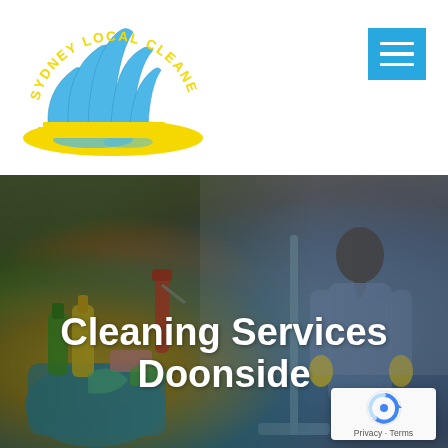[Figure (logo): Sydney Local Cleaners circular logo with Opera House illustration in blue and yellow]
[Figure (other): Blue hamburger/menu button with three white horizontal lines]
[Figure (photo): Hero banner photo showing cleaning supplies (spray bottle, mop, bucket with colorful cleaning products) held by a cleaner in the foreground and a woman cleaner with a mop in the background, with dark overlay]
Cleaning Services Doonside
[Figure (other): Google reCAPTCHA badge showing reCAPTCHA logo with Privacy and Terms text]